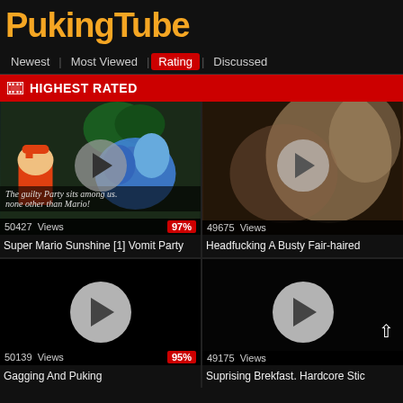PukingTube
Newest | Most Viewed | Rating | Discussed
HIGHEST RATED
[Figure (screenshot): Video thumbnail showing Super Mario Sunshine scene with Mario character and a bird, with subtitle text 'The guilty Party sits among us. none other than Mario!']
50427  Views  97%
Super Mario Sunshine [1] Vomit Party
[Figure (screenshot): Video thumbnail showing a blurry close-up of a person, dark tones]
49675  Views
Headfucking A Busty Fair-haired
[Figure (screenshot): Black video thumbnail with play button]
50139  Views  95%
Gagging And Puking
[Figure (screenshot): Black video thumbnail with play button and scroll-up arrow]
49175  Views
Suprising Brekfast. Hardcore Stic